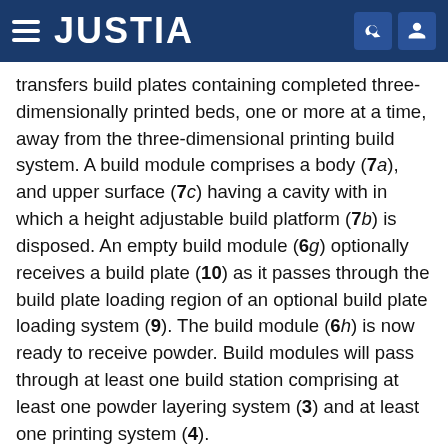JUSTIA
transfers build plates containing completed three-dimensionally printed beds, one or more at a time, away from the three-dimensional printing build system. A build module comprises a body (7a), and upper surface (7c) having a cavity with in which a height adjustable build platform (7b) is disposed. An empty build module (6g) optionally receives a build plate (10) as it passes through the build plate loading region of an optional build plate loading system (9). The build module (6h) is now ready to receive powder. Build modules will pass through at least one build station comprising at least one powder layering system (3) and at least one printing system (4).
The build module (6j) is depicted passing through the powder dispensing region of a powder layering system (3). The build module (6k) is depicted between the